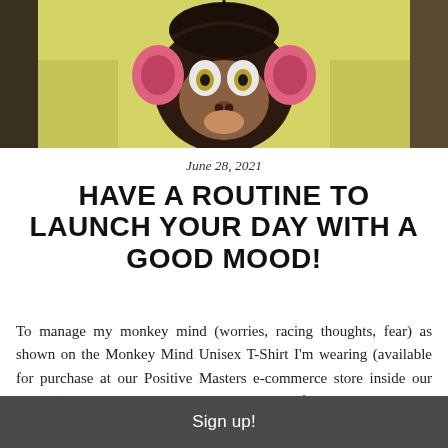[Figure (photo): Person wearing a yellow t-shirt featuring a cartoon monkey face (Monkey Mind Unisex T-Shirt) with large eyes, pink ears, and a black face, photographed from the chest up.]
June 28, 2021
HAVE A ROUTINE TO LAUNCH YOUR DAY WITH A GOOD MOOD!
To manage my monkey mind (worries, racing thoughts, fear) as shown on the Monkey Mind Unisex T-Shirt I'm wearing (available for purchase at our Positive Masters e-commerce store inside our website), I start my day by journaling my wins from the previous
Sign up!